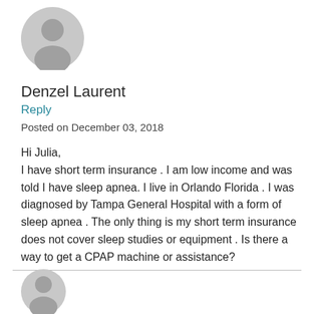[Figure (illustration): Circular grey silhouette avatar icon of a person, upper area of page]
Denzel Laurent
Reply
Posted on December 03, 2018
Hi Julia,
I have short term insurance . I am low income and was told I have sleep apnea. I live in Orlando Florida . I was diagnosed by Tampa General Hospital with a form of sleep apnea . The only thing is my short term insurance does not cover sleep studies or equipment . Is there a way to get a CPAP machine or assistance?
[Figure (illustration): Circular grey silhouette avatar icon of a person, bottom area of page]